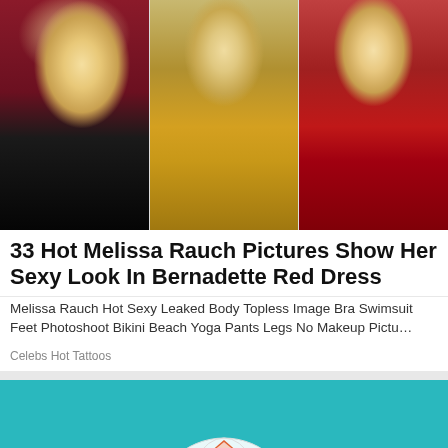[Figure (photo): Three photos of Melissa Rauch side by side: left in black dress, center in yellow dress, right in red dress]
33 Hot Melissa Rauch Pictures Show Her Sexy Look In Bernadette Red Dress
Melissa Rauch Hot Sexy Leaked Body Topless Image Bra Swimsuit Feet Photoshoot Bikini Beach Yoga Pants Legs No Makeup Pictu…
Celebs Hot Tattoos
[Figure (illustration): Teal background with a house/globe illustration and a scroll-to-top button]